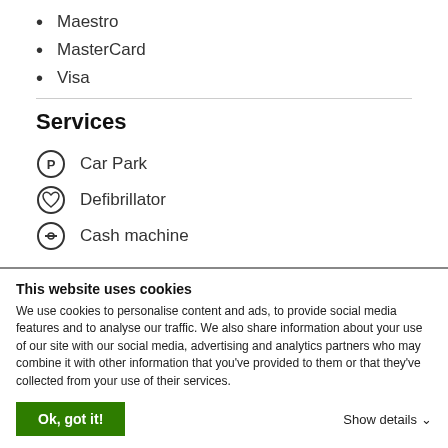Maestro
MasterCard
Visa
Services
Car Park
Defibrillator
Cash machine
This website uses cookies
We use cookies to personalise content and ads, to provide social media features and to analyse our traffic. We also share information about your use of our site with our social media, advertising and analytics partners who may combine it with other information that you've provided to them or that they've collected from your use of their services.
Ok, got it!
Show details